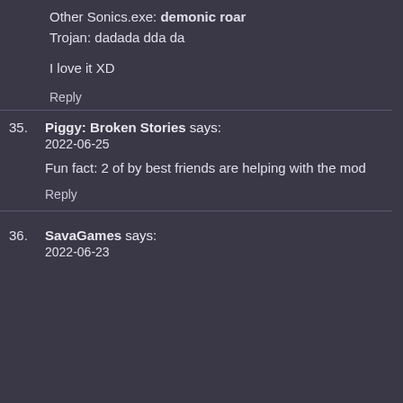Other Sonics.exe: demonic roar
Trojan: dadada dda da
I love it XD
Reply
35. Piggy: Broken Stories says: 2022-06-25
Fun fact: 2 of by best friends are helping with the mod
Reply
36. SavaGames says: 2022-06-23